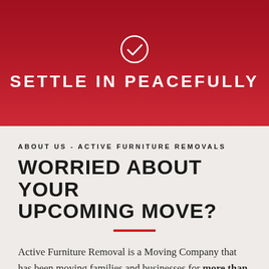[Figure (illustration): White circle checkmark icon on dark red gradient background]
SETTLE IN PEACEFULLY
ABOUT US - ACTIVE FURNITURE REMOVALS
WORRIED ABOUT YOUR UPCOMING MOVE?
Active Furniture Removal is a Moving Company that has been moving families and businesses for more than 30 years. We know the ins and outs of the moving process, so you can relax and leave it to us. We have a wide range of services to choose from, so